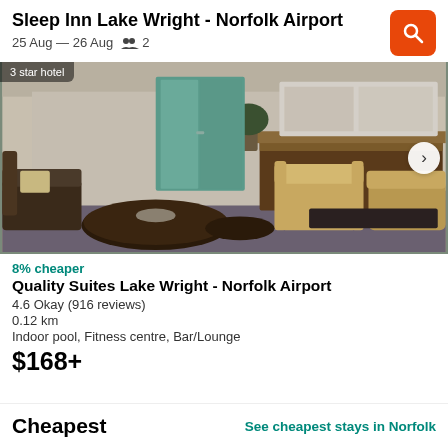Sleep Inn Lake Wright - Norfolk Airport
25 Aug — 26 Aug   2
[Figure (photo): Hotel lobby interior with tan armchairs, dark coffee tables, plants, and a reception desk in the background]
8% cheaper
Quality Suites Lake Wright - Norfolk Airport
4.6 Okay (916 reviews)
0.12 km
Indoor pool, Fitness centre, Bar/Lounge
$168+
Cheapest
See cheapest stays in Norfolk